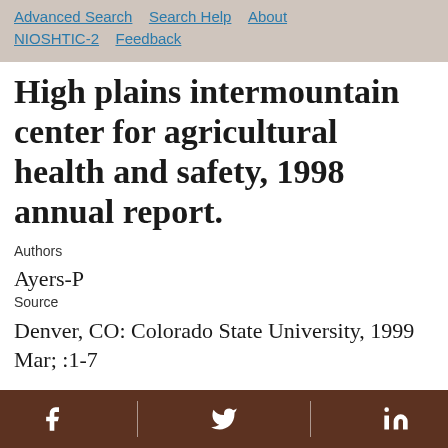Advanced Search  Search Help  About NIOSHTIC-2  Feedback
High plains intermountain center for agricultural health and safety, 1998 annual report.
Authors
Ayers-P
Source
Denver, CO: Colorado State University, 1999 Mar; :1-7
Facebook  Twitter  LinkedIn